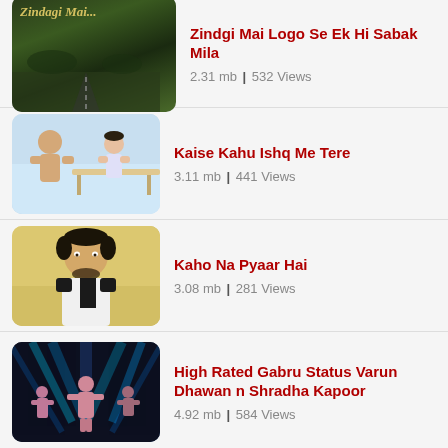Zindagi Mai Logo Se Ek Hi Sabak Mila
2.31 mb | 532 Views
Kaise Kahu Ishq Me Tere
3.11 mb | 441 Views
Kaho Na Pyaar Hai
3.08 mb | 281 Views
High Rated Gabru Status Varun Dhawan n Shradha Kapoor
4.92 mb | 584 Views